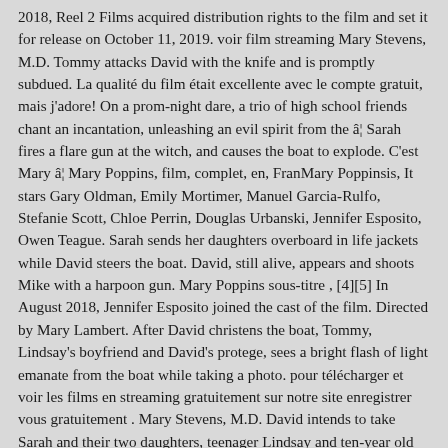2018, Reel 2 Films acquired distribution rights to the film and set it for release on October 11, 2019. voir film streaming Mary Stevens, M.D. Tommy attacks David with the knife and is promptly subdued. La qualité du film était excellente avec le compte gratuit, mais j'adore! On a prom-night dare, a trio of high school friends chant an incantation, unleashing an evil spirit from the â¦ Sarah fires a flare gun at the witch, and causes the boat to explode. C'est Mary â¦ Mary Poppins, film, complet, en, FranMary Poppinsis, It stars Gary Oldman, Emily Mortimer, Manuel Garcia-Rulfo, Stefanie Scott, Chloe Perrin, Douglas Urbanski, Jennifer Esposito, Owen Teague. Sarah sends her daughters overboard in life jackets while David steers the boat. David, still alive, appears and shoots Mike with a harpoon gun. Mary Poppins sous-titre , [4][5] In August 2018, Jennifer Esposito joined the cast of the film. Directed by Mary Lambert. After David christens the boat, Tommy, Lindsay's boyfriend and David's protege, sees a bright flash of light emanate from the boat while taking a photo. pour télécharger et voir les films en streaming gratuitement sur notre site enregistrer vous gratuitement . Mary Stevens, M.D. David intends to take Sarah and their two daughters, teenager Lindsay and ten-year old Mary, on a trip to Bermuda, as a way to strengthen the familyâs bond after Sarah had an affair. Mary smashes a glass on Lindsay's face, and David and Sarah begin